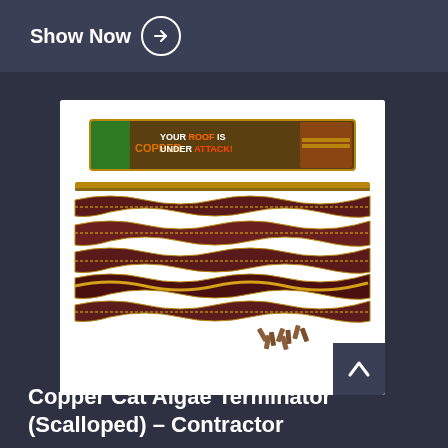Show Now →
[Figure (photo): Product photo of Copper Cat Algae Terminator (Scalloped) strips laid out with packaging box and nails. The box label reads 'YOUR ROOF IS UNDER ATTACK!' with a Copper Cat branding.]
Copper Cat Algae Terminator (Scalloped) – Contractor